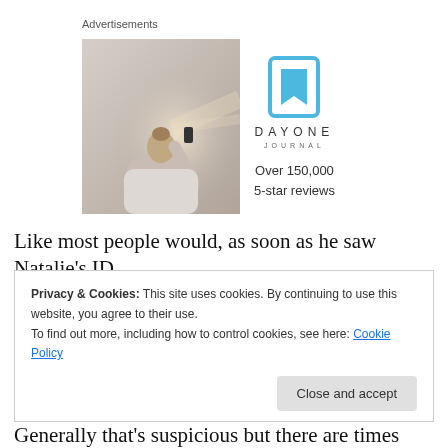Advertisements
[Figure (photo): Advertisement for Day One Journal app showing a person photographing a sunset, with the Day One logo, bookmark icon, and text 'Over 150,000 5-star reviews']
Like most people would, as soon as he saw Natalie's ID,
Privacy & Cookies: This site uses cookies. By continuing to use this website, you agree to their use.
To find out more, including how to control cookies, see here: Cookie Policy
Generally that's suspicious but there are times when it's